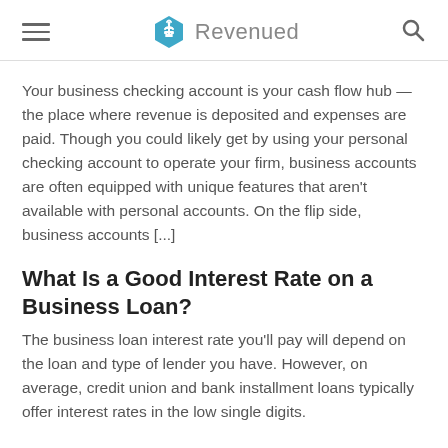Revenued
Your business checking account is your cash flow hub — the place where revenue is deposited and expenses are paid. Though you could likely get by using your personal checking account to operate your firm, business accounts are often equipped with unique features that aren't available with personal accounts. On the flip side, business accounts [...]
What Is a Good Interest Rate on a Business Loan?
The business loan interest rate you'll pay will depend on the loan and type of lender you have. However, on average, credit union and bank installment loans typically offer interest rates in the low single digits.